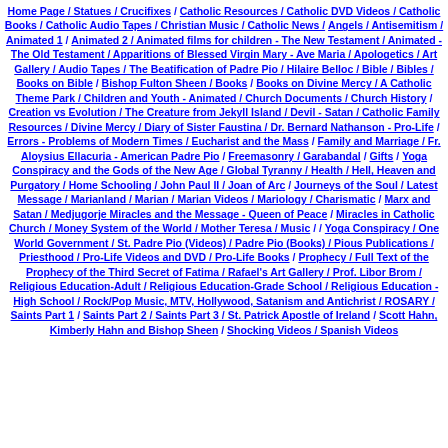Home Page / Statues / Crucifixes / Catholic Resources / Catholic DVD Videos / Catholic Books / Catholic Audio Tapes / Christian Music / Catholic News / Angels / Antisemitism / Animated 1 / Animated 2 / Animated films for children - The New Testament / Animated - The Old Testament / Apparitions of Blessed Virgin Mary - Ave Maria / Apologetics / Art Gallery / Audio Tapes / The Beatification of Padre Pio / Hilaire Belloc / Bible / Bibles / Books on Bible / Bishop Fulton Sheen / Books / Books on Divine Mercy / A Catholic Theme Park / Children and Youth - Animated / Church Documents / Church History / Creation vs Evolution / The Creature from Jekyll Island / Devil - Satan / Catholic Family Resources / Divine Mercy / Diary of Sister Faustina / Dr. Bernard Nathanson - Pro-Life / Errors - Problems of Modern Times / Eucharist and the Mass / Family and Marriage / Fr. Aloysius Ellacuria - American Padre Pio / Freemasonry / Garabandal / Gifts / Yoga Conspiracy and the Gods of the New Age / Global Tyranny / Health / Hell, Heaven and Purgatory / Home Schooling / John Paul II / Joan of Arc / Journeys of the Soul / Latest Message / Marianland / Marian / Marian Videos / Mariology / Charismatic / Marx and Satan / Medjugorje Miracles and the Message - Queen of Peace / Miracles in Catholic Church / Money System of the World / Mother Teresa / Music / / Yoga Conspiracy / One World Government / St. Padre Pio (Videos) / Padre Pio (Books) / Pious Publications / Priesthood / Pro-Life Videos and DVD / Pro-Life Books / Prophecy / Full Text of the Prophecy of the Third Secret of Fatima / Rafael's Art Gallery / Prof. Libor Brom / Religious Education-Adult / Religious Education-Grade School / Religious Education - High School / Rock/Pop Music, MTV, Hollywood, Satanism and Antichrist / ROSARY / Saints Part 1 / Saints Part 2 / Saints Part 3 / St. Patrick Apostle of Ireland / Scott Hahn, Kimberly Hahn and Bishop Sheen / Shocking Videos / Spanish Videos